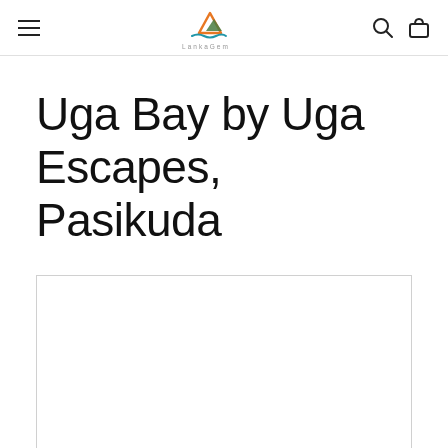Navigation bar with hamburger menu, LankaCom logo, search and cart icons
Uga Bay by Uga Escapes, Pasikuda
[Figure (photo): White/blank image placeholder area with a light border, representing a hotel or resort photo that has not yet loaded]